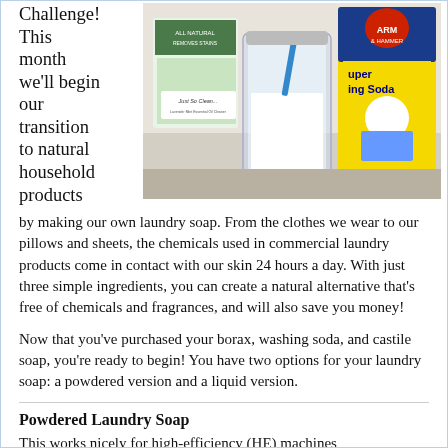Challenge! This month we'll begin our transition to natural household products
[Figure (photo): Photo of natural laundry soap ingredients including a jar of white powder, a box of Super Washing Soda (Arm & Hammer), and other natural cleaning products on a counter.]
by making our own laundry soap. From the clothes we wear to our pillows and sheets, the chemicals used in commercial laundry products come in contact with our skin 24 hours a day. With just three simple ingredients, you can create a natural alternative that's free of chemicals and fragrances, and will also save you money!
Now that you've purchased your borax, washing soda, and castile soap, you're ready to begin! You have two options for your laundry soap: a powdered version and a liquid version.
Powdered Laundry Soap
This works nicely for high-efficiency (HE) machines